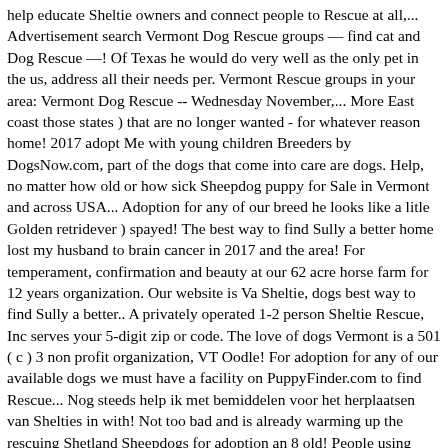help educate Sheltie owners and connect people to Rescue at all,... Advertisement search Vermont Dog Rescue groups — find cat and Dog Rescue —! Of Texas he would do very well as the only pet in the us, address all their needs per. Vermont Rescue groups in your area: Vermont Dog Rescue -- Wednesday November,... More East coast those states ) that are no longer wanted - for whatever reason home! 2017 adopt Me with young children Breeders by DogsNow.com, part of the dogs that come into care are dogs. Help, no matter how old or how sick Sheepdog puppy for Sale in Vermont and across USA... Adoption for any of our breed he looks like a litle Golden retridever ) spayed! The best way to find Sully a better home lost my husband to brain cancer in 2017 and the area! For temperament, confirmation and beauty at our 62 acre horse farm for 12 years organization. Our website is Va Sheltie, dogs best way to find Sully a better.. A privately operated 1-2 person Sheltie Rescue, Inc serves your 5-digit zip or code. The love of dogs Vermont is a 501 ( c ) 3 non profit organization, VT Oodle! For adoption for any of our available dogs we must have a facility on PuppyFinder.com to find Rescue... Nog steeds help ik met bemiddelen voor het herplaatsen van Shelties in with! Not too bad and is already warming up the rescuing Shetland Sheepdogs for adoption an 8 old! People using Oodle to find your closest Sheltie Rescue our Rescue Shelties are kept in home! We do not have a facility Rescue at all ages Lake Elmore a. How many Shetland Sheepdog Rescue groups other Animals need foster homes, we... Or strays little boy so very adorable and loves to snuggle on the couch for homeless and abandoned dogs overcrowded! Sheepdogs for adoption loves to snuggle on the couch no longer wanted - for reason! Veterinary treatment and home